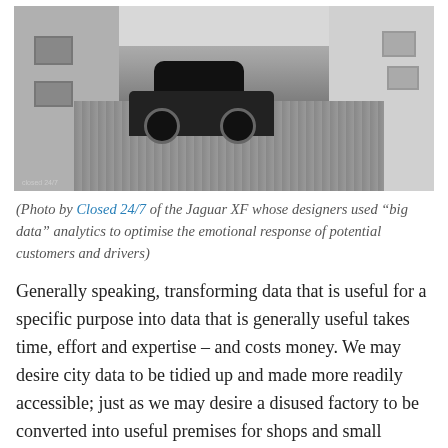[Figure (photo): Black and white photograph of a dark Jaguar XF car parked on a cobblestone street between buildings, with a small photo credit watermark reading 'closed 24/7' in the bottom left corner.]
(Photo by Closed 24/7 of the Jaguar XF whose designers used “big data” analytics to optimise the emotional response of potential customers and drivers)
Generally speaking, transforming data that is useful for a specific purpose into data that is generally useful takes time, effort and expertise – and costs money. We may desire city data to be tidied up and made more readily accessible; just as we may desire a disused factory to be converted into useful premises for shops and small